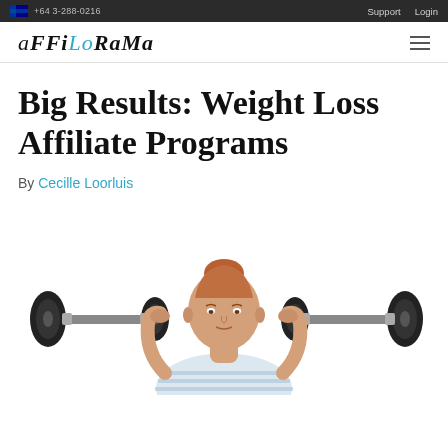+64 3-288-0216  Support  Login
aFFiLoRaMa
Big Results: Weight Loss Affiliate Programs
By Cecille Loorluis
[Figure (photo): A young woman with red hair in a bun, wearing a striped top, lifting dumbbells on each arm, looking determined, on white background]